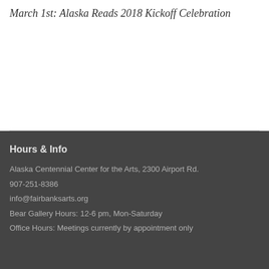March 1st: Alaska Reads 2018 Kickoff Celebration
Hours & Info
Alaska Centennial Center for the Arts, 2300 Airport Rd.
907-251-8386
info@fairbanksarts.org
Bear Gallery Hours: 12-6 pm, Mon-Saturday
Office Hours: Meetings currently by appointment only